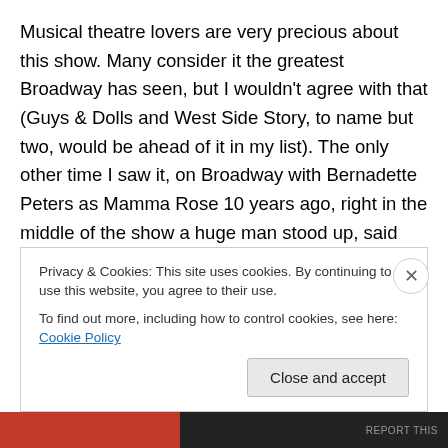Musical theatre lovers are very precious about this show. Many consider it the greatest Broadway has seen, but I wouldn't agree with that (Guys & Dolls and West Side Story, to name but two, would be ahead of it in my list). The only other time I saw it, on Broadway with Bernadette Peters as Mamma Rose 10 years ago, right in the middle of the show a huge man stood up, said 'well, she ain't no Ethel Merman' and stomped out of the theatre. It's forever associated with Merman and Angela Lansbury, who was London's first Mamma Rose, and any actress attempting it is very brave indeed.
Privacy & Cookies: This site uses cookies. By continuing to use this website, you agree to their use. To find out more, including how to control cookies, see here: Cookie Policy
Close and accept